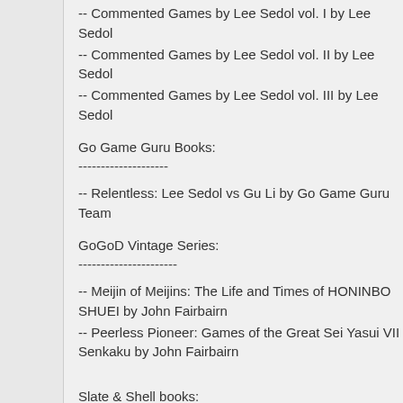-- Commented Games by Lee Sedol vol. I by Lee Sedol
-- Commented Games by Lee Sedol vol. II by Lee Sedol
-- Commented Games by Lee Sedol vol. III by Lee Sedol
Go Game Guru Books:
--------------------
-- Relentless: Lee Sedol vs Gu Li by Go Game Guru Team
GoGoD Vintage Series:
----------------------
-- Meijin of Meijins: The Life and Times of HONINBO SHUEI by John Fairbairn
-- Peerless Pioneer: Games of the Great Sei Yasui VII Senkaku by John Fairbairn
Slate & Shell books:
----------------------